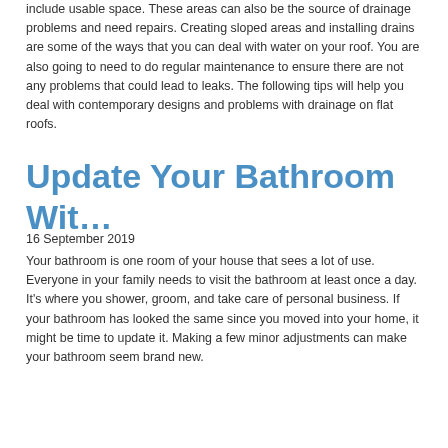include usable space. These areas can also be the source of drainage problems and need repairs. Creating sloped areas and installing drains are some of the ways that you can deal with water on your roof. You are also going to need to do regular maintenance to ensure there are not any problems that could lead to leaks. The following tips will help you deal with contemporary designs and problems with drainage on flat roofs.
Update Your Bathroom Wit…
16 September 2019
Your bathroom is one room of your house that sees a lot of use. Everyone in your family needs to visit the bathroom at least once a day. It's where you shower, groom, and take care of personal business. If your bathroom has looked the same since you moved into your home, it might be time to update it. Making a few minor adjustments can make your bathroom seem brand new.